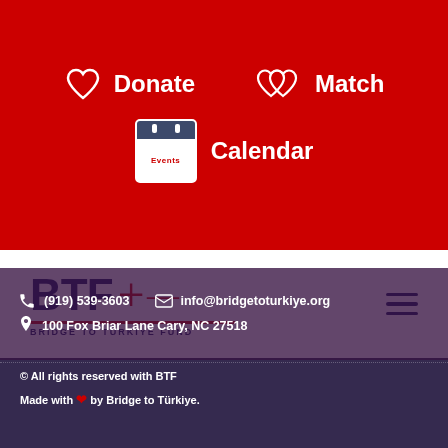[Figure (screenshot): Red navigation bar with Donate (heart icon), Match (double heart icon), and Calendar (Events) nav items on red background]
[Figure (logo): BTF Bridge to Turkiye Fund logo with bold navy blue letters and red accent, red underline, subtitle BRIDGE TO TURKIYE FUND]
(919) 539-3603
info@bridgetoturkiye.org
100 Fox Briar Lane Cary, NC 27518
© All rights reserved with BTF
Made with ❤ by Bridge to Türkiye.